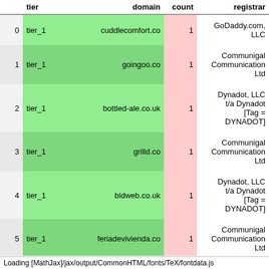|  | tier | domain | count | registrar |
| --- | --- | --- | --- | --- |
| 0 | tier_1 | cuddlecomfort.co | 1 | GoDaddy.com, LLC |
| 1 | tier_1 | goingoo.co | 1 | Communigal Communication Ltd |
| 2 | tier_1 | bottled-ale.co.uk | 1 | Dynadot, LLC t/a Dynadot [Tag = DYNADOT] |
| 3 | tier_1 | grilld.co | 1 | Communigal Communication Ltd |
| 4 | tier_1 | bldweb.co.uk | 1 | Dynadot, LLC t/a Dynadot [Tag = DYNADOT] |
| 5 | tier_1 | feriadevivienda.co | 1 | Communigal Communication Ltd |
| 6 | tier_1 | backup.name | 1 | None |
| 7 | tier_1 | example.co | 1 | GoDaddy.com, LLC |
Loading [MathJax]/jax/output/CommonHTML/fonts/TeX/fontdata.js